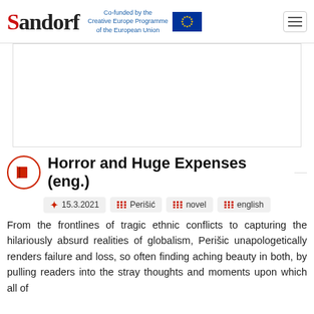Sandorf — Co-funded by the Creative Europe Programme of the European Union
[Figure (illustration): Book cover image area (white/blank)]
Horror and Huge Expenses (eng.)
15.3.2021  Perišić  novel  english
From the frontlines of tragic ethnic conflicts to capturing the hilariously absurd realities of globalism, Perišic unapologetically renders failure and loss, so often finding aching beauty in both, by pulling readers into the stray thoughts and moments upon which all of